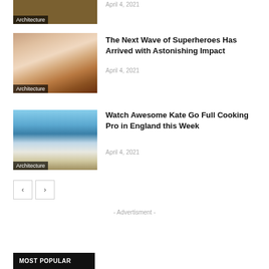[Figure (photo): Partial image of architecture interior at top, with 'Architecture' label overlay]
April 4, 2021
[Figure (photo): Bedroom interior with orange/blue decor, with 'Architecture' label overlay]
The Next Wave of Superheroes Has Arrived with Astonishing Impact
April 4, 2021
[Figure (photo): Lakeside/mountain view from a modern interior, with 'Architecture' label overlay]
Watch Awesome Kate Go Full Cooking Pro in England this Week
April 4, 2021
- Advertisment -
MOST POPULAR